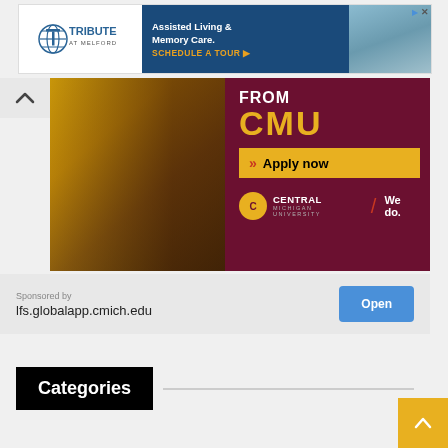[Figure (screenshot): Tribute at Melford assisted living ad banner with blue background and photo of elderly person]
[Figure (screenshot): Central Michigan University promotional banner showing student writing, with FROM CMU text, Apply now button, and CMU logo with We do tagline]
Sponsored by
lfs.globalapp.cmich.edu
Categories